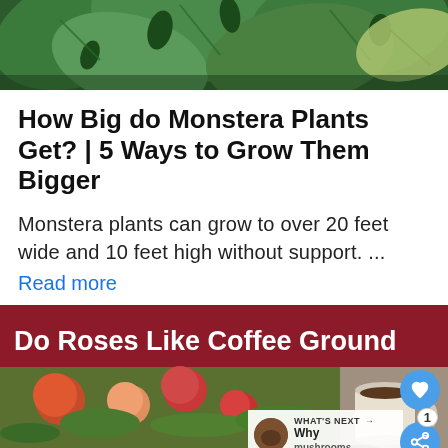[Figure (photo): Close-up photograph of large tropical Monstera plant leaves with characteristic split-leaf pattern, green foliage]
How Big do Monstera Plants Get? | 5 Ways to Grow Them Bigger
Monstera plants can grow to over 20 feet wide and 10 feet high without support. ...
Read more
[Figure (screenshot): Article card preview with dark red banner reading 'Do Roses Like Coffee Grounds?' with a photo of roses and a coffee cup, plus UI buttons for heart/like and share with count badge of 1, and a 'What's Next' preview box showing 'Why mushrooms']
[Figure (screenshot): Advertisement bar at bottom with dark background, text 'ANIMAL ADVICE 07', 'FLATTEN THE CURVE', '@rohandaho' social handle, and an X close button]